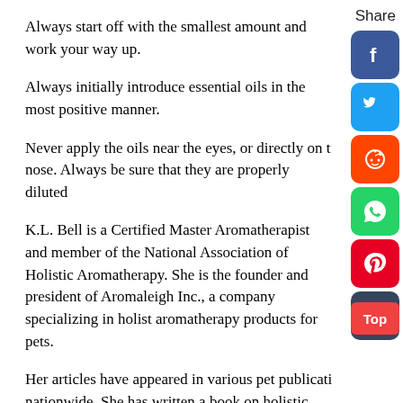Always start off with the smallest amount and work your way up.
Always initially introduce essential oils in the most positive manner.
Never apply the oils near the eyes, or directly on the nose. Always be sure that they are properly diluted
K.L. Bell is a Certified Master Aromatherapist and member of the National Association of Holistic Aromatherapy. She is the founder and president of Aromaleigh Inc., a company specializing in holistic aromatherapy products for pets.
Her articles have appeared in various pet publications nationwide. She has written a book on holistic aromatherapy for pets, titled Holistic Aromatherapy for Animals.
[Figure (infographic): Social share sidebar with Share label and icons: Facebook (blue), Twitter (blue), Reddit (orange), WhatsApp (green), Pinterest (red), Tumblr (dark blue), and a red Top button]
Additional Resources